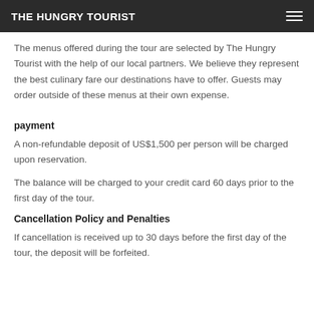THE HUNGRY TOURIST
The menus offered during the tour are selected by The Hungry Tourist with the help of our local partners. We believe they represent the best culinary fare our destinations have to offer. Guests may order outside of these menus at their own expense.
payment
A non-refundable deposit of US$1,500 per person will be charged upon reservation.
The balance will be charged to your credit card 60 days prior to the first day of the tour.
Cancellation Policy and Penalties
If cancellation is received up to 30 days before the first day of the tour, the deposit will be forfeited.